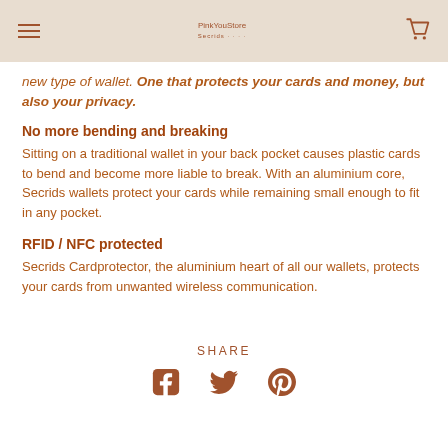Secrids [logo] [hamburger menu] [cart icon]
new type of wallet. One that protects your cards and money, but also your privacy.
No more bending and breaking
Sitting on a traditional wallet in your back pocket causes plastic cards to bend and become more liable to break. With an aluminium core, Secrids wallets protect your cards while remaining small enough to fit in any pocket.
RFID / NFC protected
Secrids Cardprotector, the aluminium heart of all our wallets, protects your cards from unwanted wireless communication.
SHARE
[Figure (illustration): Social media share icons: Facebook, Twitter, Pinterest in brown/terracotta color]